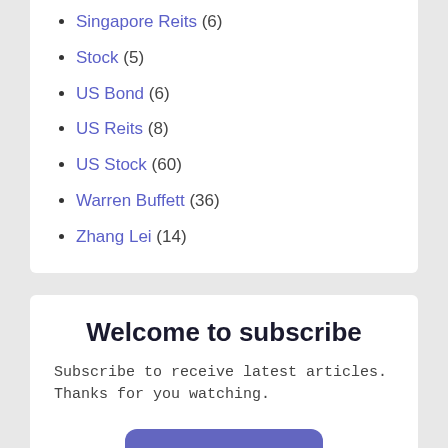Singapore Reits (6)
Stock (5)
US Bond (6)
US Reits (8)
US Stock (60)
Warren Buffett (36)
Zhang Lei (14)
Welcome to subscribe
Subscribe to receive latest articles. Thanks for you watching.
Subsribe